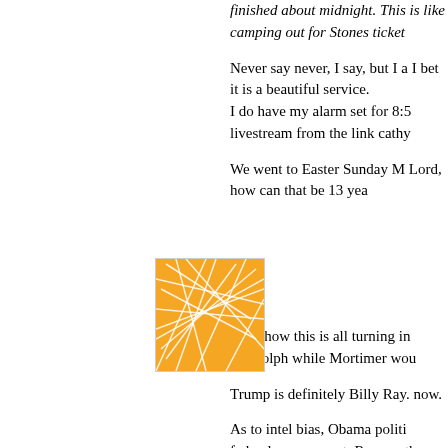finished about midnight. This is like camping out for Stones ticket
Never say never, I say, but I a I bet it is a beautiful service. I do have my alarm set for 8:5 livestream from the link cathy
We went to Easter Sunday M Lord, how can that be 13 yea
[Figure (logo): Orange square logo with white geometric network/web lines pattern]
Somehow this is all turning in Randolph while Mortimer wou
Trump is definitely Billy Ray. now.
As to intel bias, Obama politi federal government. Remem the National Endowment for t IRS, EPA, DoJ, all the way do there.
Brennan is a clear example, a